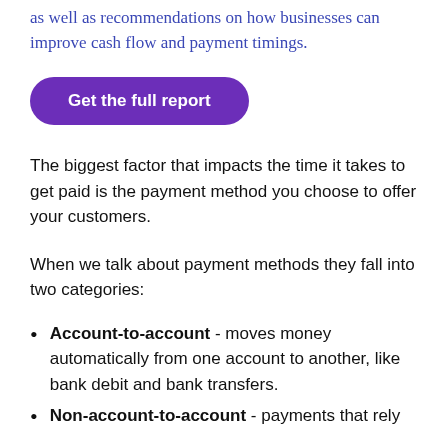as well as recommendations on how businesses can improve cash flow and payment timings.
Get the full report
The biggest factor that impacts the time it takes to get paid is the payment method you choose to offer your customers.
When we talk about payment methods they fall into two categories:
Account-to-account - moves money automatically from one account to another, like bank debit and bank transfers.
Non-account-to-account - payments that rely